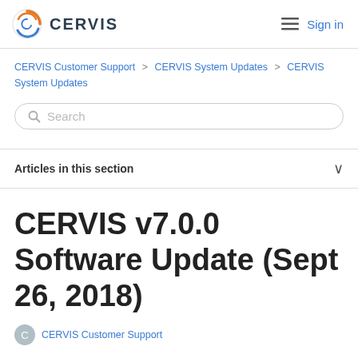[Figure (logo): CERVIS logo with circular orange/blue icon and CERVIS text]
≡  Sign in
CERVIS Customer Support > CERVIS System Updates > CERVIS System Updates
Search
Articles in this section
CERVIS v7.0.0 Software Update (Sept 26, 2018)
CERVIS Customer Support